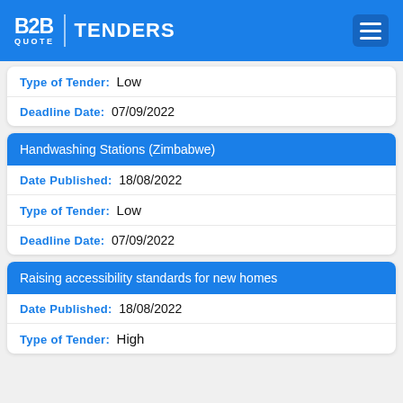B2B QUOTE TENDERS
Type of Tender: Low
Deadline Date: 07/09/2022
Handwashing Stations (Zimbabwe)
Date Published: 18/08/2022
Type of Tender: Low
Deadline Date: 07/09/2022
Raising accessibility standards for new homes
Date Published: 18/08/2022
Type of Tender: High